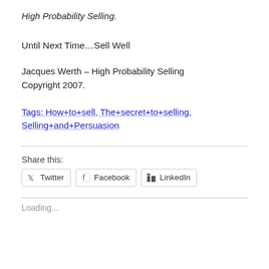High Probability Selling.
Until Next Time…Sell Well
Jacques Werth – High Probability Selling
Copyright 2007.
Tags: How+to+sell, The+secret+to+selling, Selling+and+Persuasion
Share this:
Twitter  Facebook  LinkedIn
Loading...